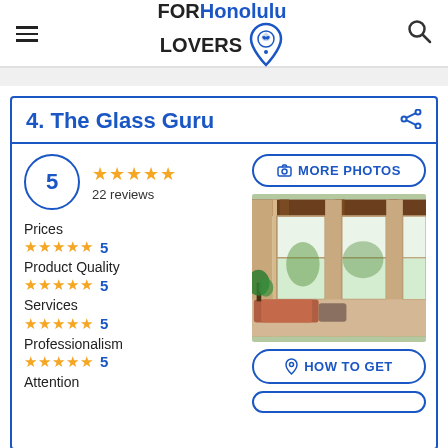FORHonolulu LOVERS
4. The Glass Guru
5 ★★★★★ 22 reviews
Prices ★★★★★ 5
Product Quality ★★★★★ 5
Services ★★★★★ 5
Professionalism ★★★★★ 5
Attention
[Figure (photo): Interior room photo showing white-framed windows overlooking a green outdoor scene with cushioned seating and a plant]
MORE PHOTOS
HOW TO GET